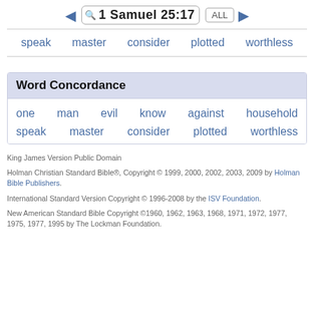1 Samuel 25:17  ALL
speak  master  consider  plotted  worthless
Word Concordance
one  man  evil  know  against  household
speak  master  consider  plotted  worthless
King James Version Public Domain
Holman Christian Standard Bible®, Copyright © 1999, 2000, 2002, 2003, 2009 by Holman Bible Publishers.
International Standard Version Copyright © 1996-2008 by the ISV Foundation.
New American Standard Bible Copyright ©1960, 1962, 1963, 1968, 1971, 1972, 1977, 1975, 1977, 1995 by The Lockman Foundation.